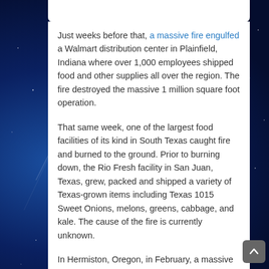Just weeks before that, a massive fire engulfed a Walmart distribution center in Plainfield, Indiana where over 1,000 employees shipped food and other supplies all over the region. The fire destroyed the massive 1 million square foot operation.
That same week, one of the largest food facilities of its kind in South Texas caught fire and burned to the ground. Prior to burning down, the Rio Fresh facility in San Juan, Texas, grew, packed and shipped a variety of Texas-grown items including Texas 1015 Sweet Onions, melons, greens, cabbage, and kale. The cause of the fire is currently unknown.
In Hermiston, Oregon, in February, a massive food processing facility suddenly exploded, injuring 7 of